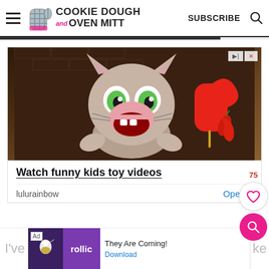Cookie Dough and Oven Mitt — SUBSCRIBE
[Figure (screenshot): Advertisement banner showing animated cartoon cat with green eyes holding a red chili popsicle, with text 'Watch funny kids toy videos', source 'lulurainbow', and 'Open >' button]
I've ... ke reci... h
[Figure (screenshot): Bottom ad bar: Rollic app ad with 'They Are Coming!' text and 'Download' button]